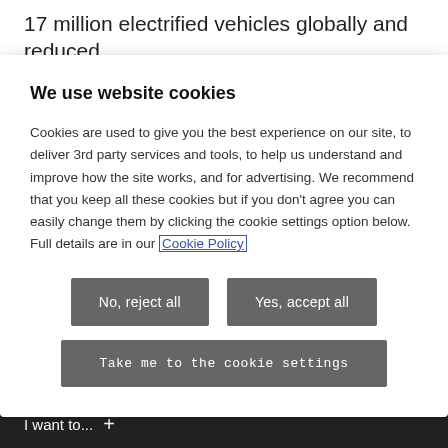17 million electrified vehicles globally and reduced
We use website cookies
Cookies are used to give you the best experience on our site, to deliver 3rd party services and tools, to help us understand and improve how the site works, and for advertising. We recommend that you keep all these cookies but if you don't agree you can easily change them by clicking the cookie settings option below. Full details are in our Cookie Policy
[Figure (screenshot): Two buttons: 'No, reject all' and 'Yes, accept all', both dark gray]
[Figure (screenshot): Button: 'Take me to the cookie settings', dark gray, monospace font]
How helpful is this page to find what you are looking for?
[Figure (illustration): Row of five emoji faces ranging from angry to very happy]
I want to... +